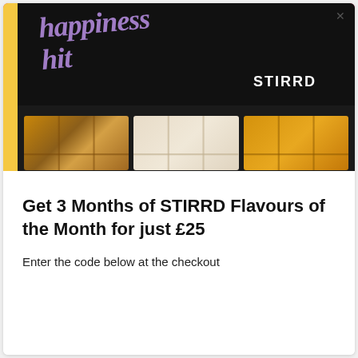[Figure (photo): Open STIRRD branded black box with 'happiness hit' written in purple lettering on the lid, containing three trays of fudge/confectionery pieces against a pink background with a yellow left border strip. An X close button is visible in the top right corner.]
Get 3 Months of STIRRD Flavours of the Month for just £25
Enter the code below at the checkout